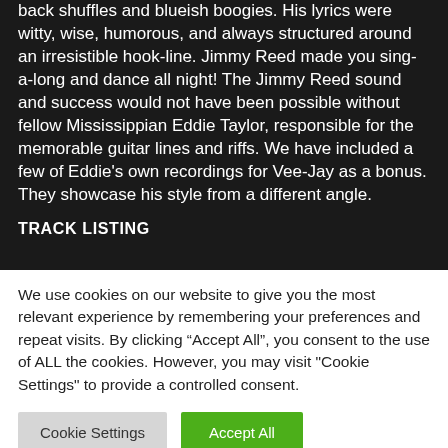back shuffles and blueish boogies. His lyrics were witty, wise, humorous, and always structured around an irresistible hook-line. Jimmy Reed made you sing-a-long and dance all night! The Jimmy Reed sound and success would not have been possible without fellow Mississippian Eddie Taylor, responsible for the memorable guitar lines and riffs. We have included a few of Eddie's own recordings for Vee-Jay as a bonus. They showcase his style from a different angle.
TRACK LISTING
We use cookies on our website to give you the most relevant experience by remembering your preferences and repeat visits. By clicking "Accept All", you consent to the use of ALL the cookies. However, you may visit "Cookie Settings" to provide a controlled consent.